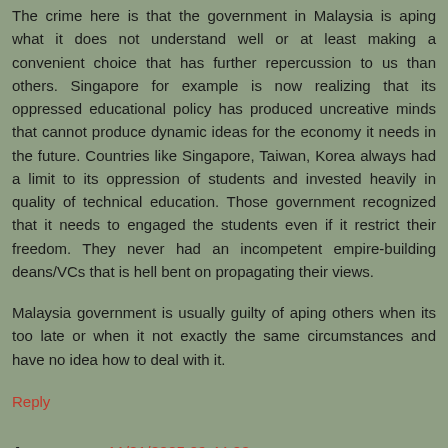The crime here is that the government in Malaysia is aping what it does not understand well or at least making a convenient choice that has further repercussion to us than others. Singapore for example is now realizing that its oppressed educational policy has produced uncreative minds that cannot produce dynamic ideas for the economy it needs in the future. Countries like Singapore, Taiwan, Korea always had a limit to its oppression of students and invested heavily in quality of technical education. Those government recognized that it needs to engaged the students even if it restrict their freedom. They never had an incompetent empire-building deans/VCs that is hell bent on propagating their views.
Malaysia government is usually guilty of aping others when its too late or when it not exactly the same circumstances and have no idea how to deal with it.
Reply
Anonymous 11/21/2005 09:44:00 am
Stone aged politicians who practised narrow mind